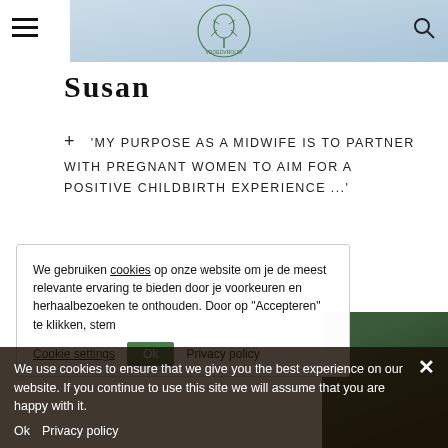Susan — midwife website header with logo and navigation
Susan
+ 'MY PURPOSE AS A MIDWIFE IS TO PARTNER WITH PREGNANT WOMEN TO AIM FOR A POSITIVE CHILDBIRTH EXPERIENCE ...'
We gebruiken cookies op onze website om je de meest relevante ervaring te bieden door je voorkeuren en herhaalbezoeken te onthouden. Door op "Accepteren" te klikken, stem je ...
We use cookies to ensure that we give you the best experience on our website. If you continue to use this site we will assume that you are happy with it.